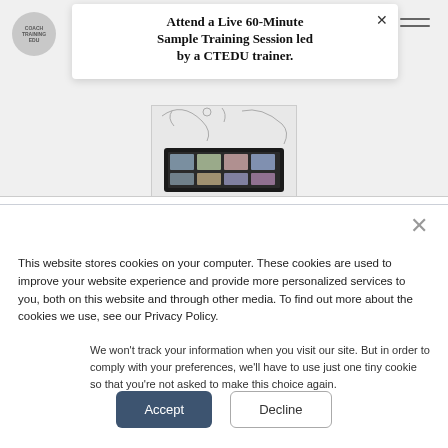Attend a Live 60-Minute Sample Training Session led by a CTEDU trainer.
[Figure (screenshot): Screenshot of a laptop showing a video call with multiple participants, with decorative line art flourishes above it.]
This website stores cookies on your computer. These cookies are used to improve your website experience and provide more personalized services to you, both on this website and through other media. To find out more about the cookies we use, see our Privacy Policy.
We won't track your information when you visit our site. But in order to comply with your preferences, we'll have to use just one tiny cookie so that you're not asked to make this choice again.